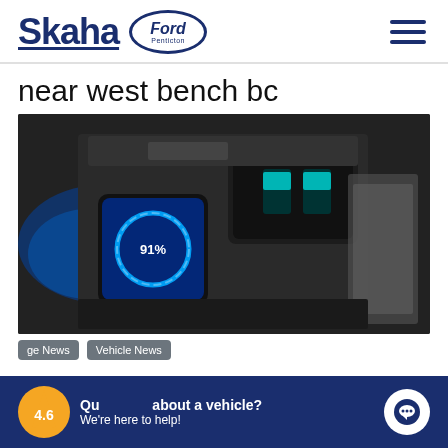[Figure (logo): Skaha Ford Penticton dealer logo with hamburger menu icon]
near west bench bc
[Figure (photo): Close-up photo of a car interior showing a wireless charging pad with a smartphone at 91% charge and USB hub]
ge News
Vehicle News
4.6  Questions about a vehicle? We're here to help!